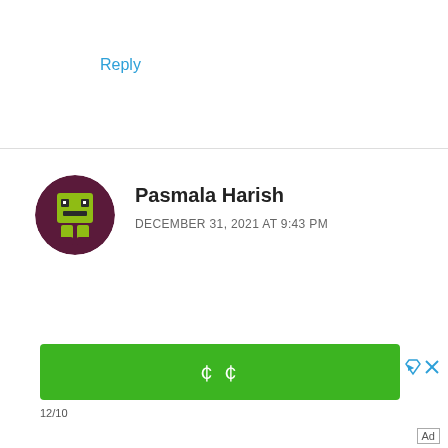Reply
[Figure (illustration): Circular avatar with pixel art game character design, dark purple/maroon background with green and yellow robot/character icon]
Pasmala Harish
DECEMBER 31, 2021 AT 9:43 PM
Im interested
Reply
[Figure (screenshot): Green advertisement button with Korean characters, ad close icons, Japanese/Korean text line starting with 12/10, and Ad label in bottom right]